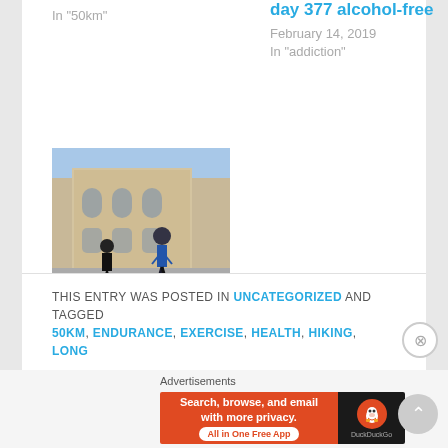In "50km"
day 377 alcohol-free
February 14, 2019
In "addiction"
[Figure (photo): A runner in a blue vest and shorts running through a city street with a large historic building in the background]
Melbourne Marathon 2018
October 18, 2018
In "blog"
THIS ENTRY WAS POSTED IN UNCATEGORIZED AND TAGGED 50KM, ENDURANCE, EXERCISE, HEALTH, HIKING, LONG
Advertisements
[Figure (screenshot): DuckDuckGo advertisement banner: Search, browse, and email with more privacy. All in One Free App]